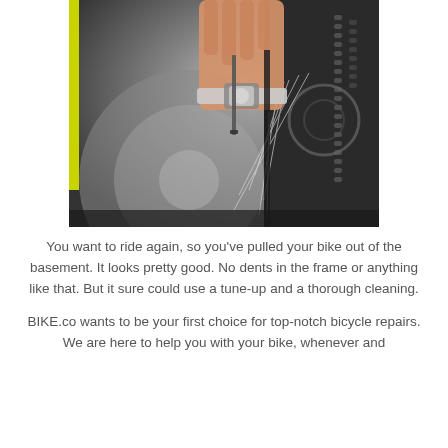[Figure (photo): Close-up photo of a hand working on a bicycle chain and gear mechanism, with spokes and frame visible in the background. A yellow-green accent stripe is visible on the left edge.]
You want to ride again, so you've pulled your bike out of the basement. It looks pretty good. No dents in the frame or anything like that. But it sure could use a tune-up and a thorough cleaning.
BIKE.co wants to be your first choice for top-notch bicycle repairs. We are here to help you with your bike, whenever and